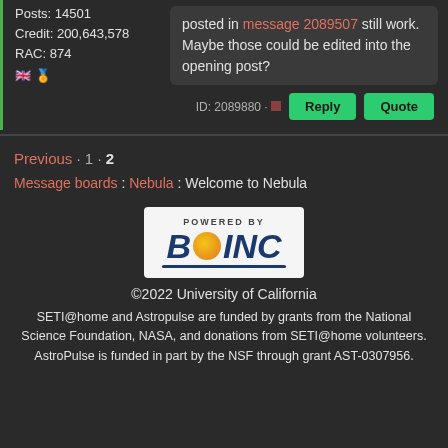Posts: 14501
Credit: 200,643,578
RAC: 874
posted in message 2089507 still work. Maybe those could be edited into the opening post?
ID: 2089880
Previous · 1 · 2
Message boards : Nebula : Welcome to Nebula
[Figure (logo): Powered by BOINC logo with stylized text and orange circle between B and INC on white background]
©2022 University of California
SETI@home and Astropulse are funded by grants from the National Science Foundation, NASA, and donations from SETI@home volunteers. AstroPulse is funded in part by the NSF through grant AST-0307956.